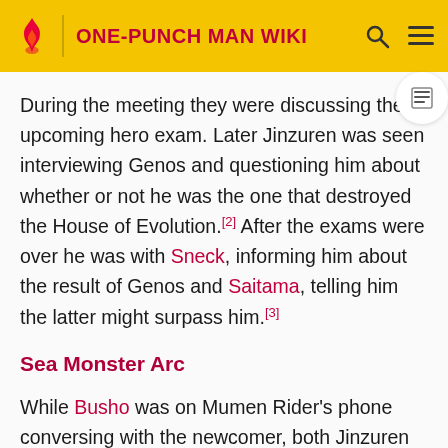ONE-PUNCH MAN WIKI
During the meeting they were discussing the upcoming hero exam. Later Jinzuren was seen interviewing Genos and questioning him about whether or not he was the one that destroyed the House of Evolution.[2] After the exams were over he was with Sneck, informing him about the result of Genos and Saitama, telling him the latter might surpass him.[3]
Sea Monster Arc
While Busho was on Mumen Rider's phone conversing with the newcomer, both Jinzuren and his co-worker surmised that this exercise could be the opportunity they needed to gauge Saitama's true strength.[4]